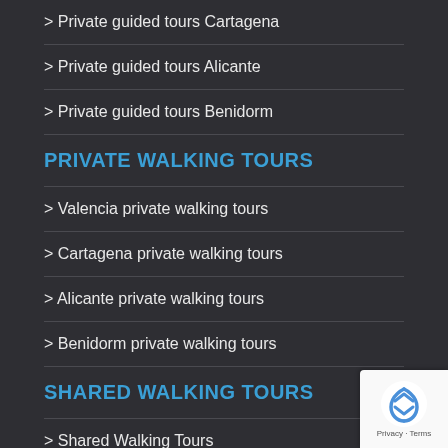> Private guided tours Cartagena
> Private guided tours Alicante
> Private guided tours Benidorm
PRIVATE WALKING TOURS
> Valencia private walking tours
> Cartagena private walking tours
> Alicante private walking tours
> Benidorm private walking tours
SHARED WALKING TOURS
> Shared Walking Tours